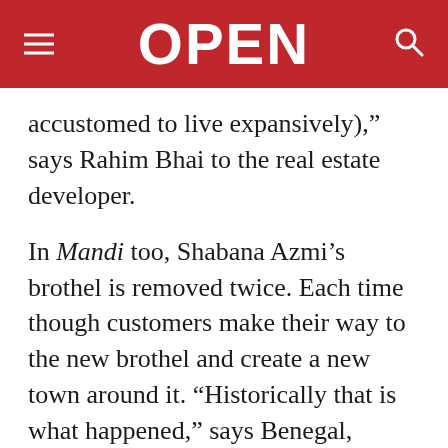OPEN
accustomed to live expansively),” says Rahim Bhai to the real estate developer.
In Mandi too, Shabana Azmi’s brothel is removed twice. Each time though customers make their way to the new brothel and create a new town around it. “Historically that is what happened,” says Benegal, pointing out how the red-light district came up in Old Hyderabad around Charminar when members of a substantial harem of the last Nizam, Mir Osman Ali Khan, fell out of favour. They had to move out of the Chowmahalla